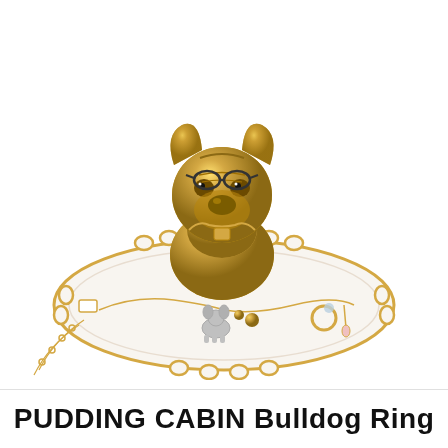[Figure (photo): A gold ceramic French Bulldog figurine sitting on a white ceramic scallop-edged plate with gold trim. The plate holds various jewelry items including necklaces, rings, and charms. A small silver dog charm and various gold chains and earrings are arranged around the bulldog on the plate.]
PUDDING CABIN Bulldog Ring